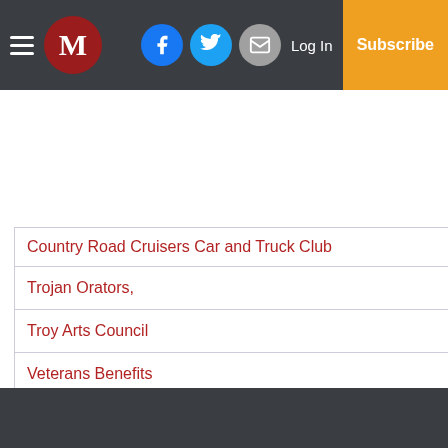M | Log In | Subscribe
Country Road Cruisers Car and Truck Club
Trojan Orators,
Troy Arts Council
Veterans Benefits
12:00pm   Troy Rotary Club
Wednesday, August 24
Pike County Business Women's Association
+ Google Calendar